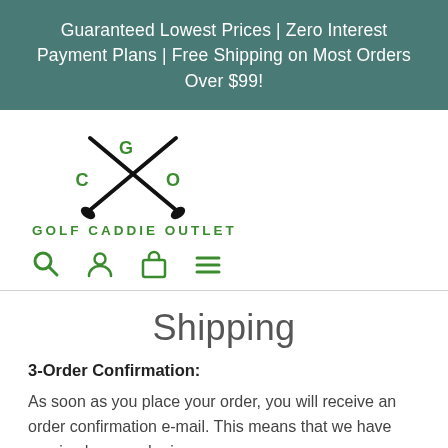Guaranteed Lowest Prices | Zero Interest Payment Plans | Free Shipping on Most Orders Over $99!
[Figure (logo): Golf Caddie Outlet logo: two crossed golf clubs forming an X shape with letters G, C, O in green around the X, and the text GOLF CADDIE OUTLET below in green bold caps]
[Figure (other): Navigation icons: search magnifying glass, user/account person icon, shopping bag icon, and hamburger menu icon, all in green]
Shipping
3-Order Confirmation:
As soon as you place your order, you will receive an order confirmation e-mail.  This means that we have received your order in